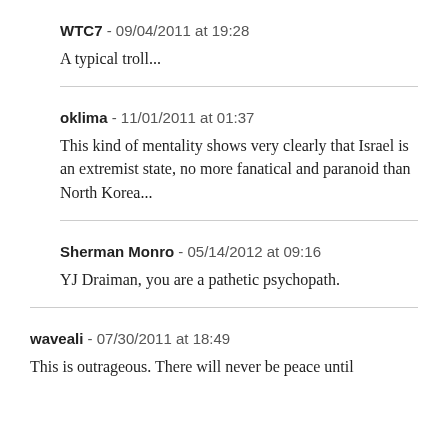WTC7 - 09/04/2011 at 19:28
A typical troll...
oklima - 11/01/2011 at 01:37
This kind of mentality shows very clearly that Israel is an extremist state, no more fanatical and paranoid than North Korea...
Sherman Monro - 05/14/2012 at 09:16
YJ Draiman, you are a pathetic psychopath.
waveali - 07/30/2011 at 18:49
This is outrageous. There will never be peace until